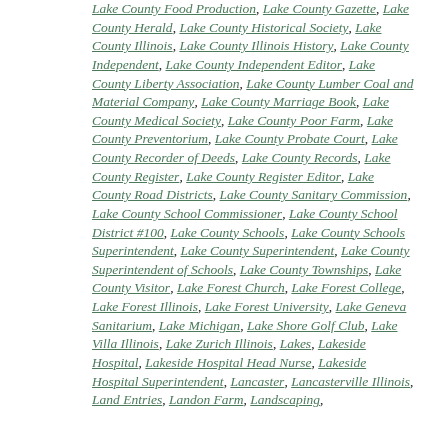Lake County Food Production, Lake County Gazette, Lake County Herald, Lake County Historical Society, Lake County Illinois, Lake County Illinois History, Lake County Independent, Lake County Independent Editor, Lake County Liberty Association, Lake County Lumber Coal and Material Company, Lake County Marriage Book, Lake County Medical Society, Lake County Poor Farm, Lake County Preventorium, Lake County Probate Court, Lake County Recorder of Deeds, Lake County Records, Lake County Register, Lake County Register Editor, Lake County Road Districts, Lake County Sanitary Commission, Lake County School Commissioner, Lake County School District #100, Lake County Schools, Lake County Schools Superintendent, Lake County Superintendent, Lake County Superintendent of Schools, Lake County Townships, Lake County Visitor, Lake Forest Church, Lake Forest College, Lake Forest Illinois, Lake Forest University, Lake Geneva Sanitarium, Lake Michigan, Lake Shore Golf Club, Lake Villa Illinois, Lake Zurich Illinois, Lakes, Lakeside Hospital, Lakeside Hospital Head Nurse, Lakeside Hospital Superintendent, Lancaster, Lancasterville Illinois, Land Entries, Landon Farm, Landscaping,